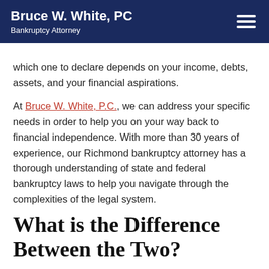Bruce W. White, PC
Bankruptcy Attorney
which one to declare depends on your income, debts, assets, and your financial aspirations.
At Bruce W. White, P.C., we can address your specific needs in order to help you on your way back to financial independence. With more than 30 years of experience, our Richmond bankruptcy attorney has a thorough understanding of state and federal bankruptcy laws to help you navigate through the complexities of the legal system.
What is the Difference Between the Two?
The short answer is that we file a Chapter 7 case for